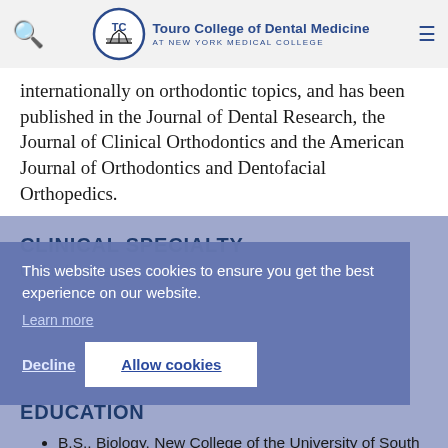Touro College of Dental Medicine AT NEW YORK MEDICAL COLLEGE
internationally on orthodontic topics, and has been published in the Journal of Dental Research, the Journal of Clinical Orthodontics and the American Journal of Orthodontics and Dentofacial Orthopedics.
CLINICAL SPECIALTY
Orthodontics
This website uses cookies to ensure you get the best experience on our website. Learn more
EDUCATION
B.S., Biology, New College of the University of South Florida